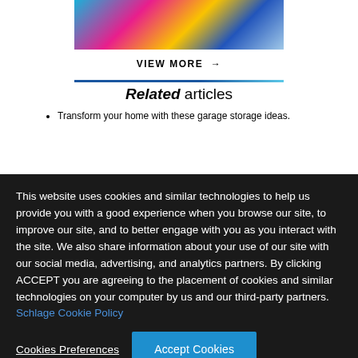[Figure (photo): Colorful gift boxes/wrapped presents on a blue background, partially visible at top]
VIEW MORE →
Related articles
Transform your home with these garage storage ideas.
This website uses cookies and similar technologies to help us provide you with a good experience when you browse our site, to improve our site, and to better engage with you as you interact with the site. We also share information about your use of our site with our social media, advertising, and analytics partners. By clicking ACCEPT you are agreeing to the placement of cookies and similar technologies on your computer by us and our third-party partners. Schlage Cookie Policy
Cookies Preferences
Accept Cookies